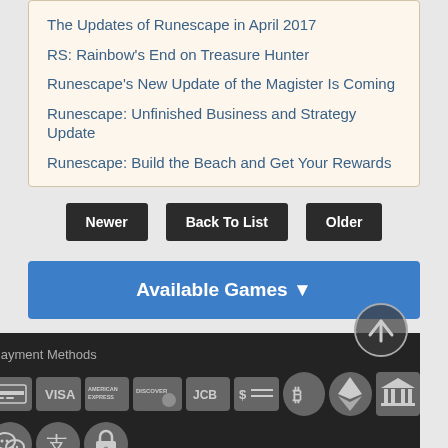The Updates of Runescape in April 2017
RS: Rainbow's End on Treasure Hunter
Runescape's New Update of the Magister Is Coming
Runescape: Unfinished Business and Strategy Update
Runescape: Build the Beach and Get Your Rewards
Newer | Back To List | Older
Available Games ▼
Payment Methods
[Figure (infographic): Row of payment method icons: credit card, Visa, American Express, Discover, JCB, dollar/money transfer, Bitcoin, Ethereum, bank/institution, WeChat Pay, Alipay, secure/lock]